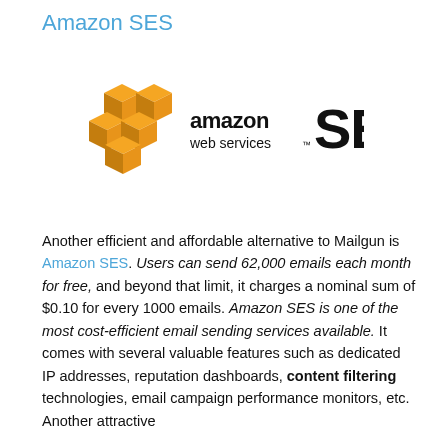Amazon SES
[Figure (logo): Amazon Web Services SES logo — orange AWS cube icons on the left, 'amazon web services™' in black text below, and large bold 'SES' text on the right]
Another efficient and affordable alternative to Mailgun is Amazon SES. Users can send 62,000 emails each month for free, and beyond that limit, it charges a nominal sum of $0.10 for every 1000 emails. Amazon SES is one of the most cost-efficient email sending services available. It comes with several valuable features such as dedicated IP addresses, reputation dashboards, content filtering technologies, email campaign performance monitors, etc. Another attractive